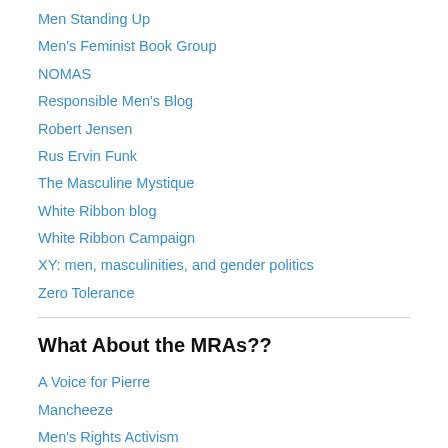Men Standing Up
Men's Feminist Book Group
NOMAS
Responsible Men's Blog
Robert Jensen
Rus Ervin Funk
The Masculine Mystique
White Ribbon blog
White Ribbon Campaign
XY: men, masculinities, and gender politics
Zero Tolerance
What About the MRAs??
A Voice for Pierre
Mancheeze
Men's Rights Activism
Men's Rights Activist Marmoset
We Hunted the Mammoth (was manboobz)